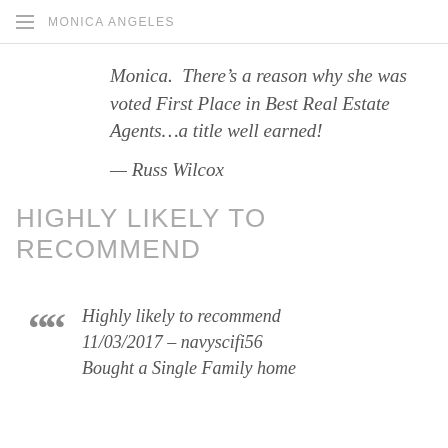MONICA ANGELES
Monica.  There’s a reason why she was voted First Place in Best Real Estate Agents…a title well earned!
— Russ Wilcox
HIGHLY LIKELY TO RECOMMEND
Highly likely to recommend 11/03/2017 – navyscifi56 Bought a Single Family home